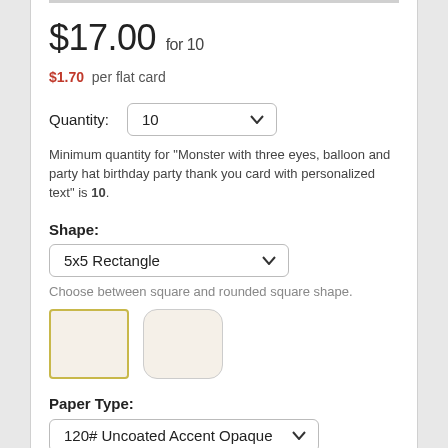$17.00 for 10
$1.70 per flat card
Quantity: 10
Minimum quantity for "Monster with three eyes, balloon and party hat birthday party thank you card with personalized text" is 10.
Shape:
5x5 Rectangle
Choose between square and rounded square shape.
[Figure (other): Two shape selector buttons: a square shape (selected, gold border) and a rounded square shape (unselected, gray border)]
Paper Type:
120# Uncoated Accent Opaque